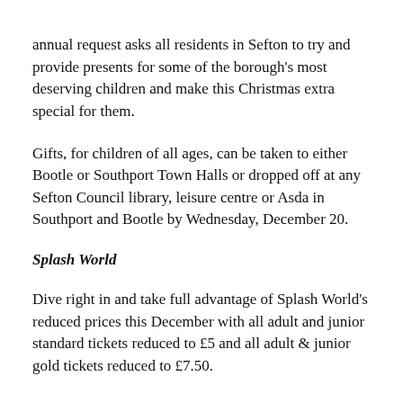annual request asks all residents in Sefton to try and provide presents for some of the borough's most deserving children and make this Christmas extra special for them.
Gifts, for children of all ages, can be taken to either Bootle or Southport Town Halls or dropped off at any Sefton Council library, leisure centre or Asda in Southport and Bootle by Wednesday, December 20.
Splash World
Dive right in and take full advantage of Splash World's reduced prices this December with all adult and junior standard tickets reduced to £5 and all adult & junior gold tickets reduced to £7.50.